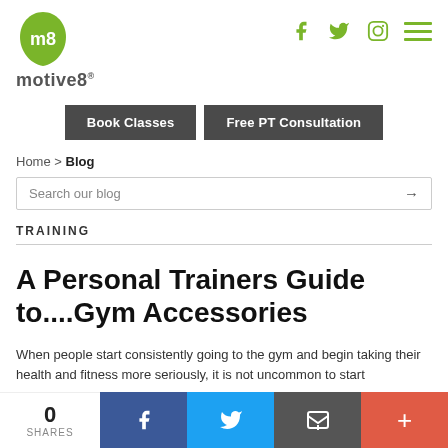[Figure (logo): motive8 fitness logo - green teardrop/leaf shape with 'm8' text inside]
[Figure (infographic): Social media icons: Facebook, Twitter, Instagram, hamburger menu in green]
Book Classes
Free PT Consultation
Home > Blog
Search our blog
TRAINING
A Personal Trainers Guide to....Gym Accessories
When people start consistently going to the gym and begin taking their health and fitness more seriously, it is not uncommon to start
0 SHARES
[Figure (infographic): Share bar with Facebook, Twitter, email, and plus icons]